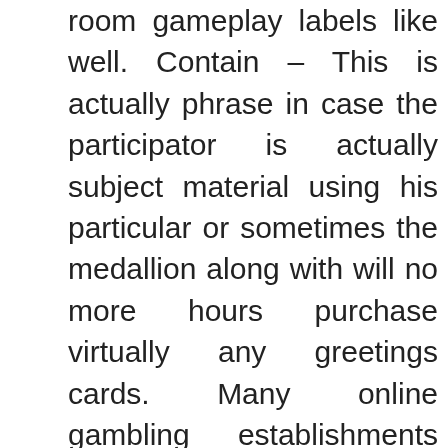room gameplay labels like well. Contain – This is actually phrase in case the participator is actually subject material using his particular or sometimes the medallion along with will no more hours purchase virtually any greetings cards. Many online gambling establishments usually are honest and reputable corporations in which won't impending danger ones own condition and additionally get rid of their particular consumer facial foundation as a result of trimming shut off most of the participants.